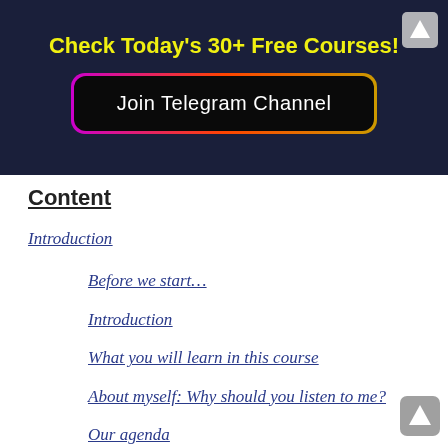Check Today's 30+ Free Courses!
[Figure (screenshot): Dark navy banner with yellow bold text 'Check Today's 30+ Free Courses!' and a black button with gradient border reading 'Join Telegram Channel']
Content
Introduction
Before we start…
Introduction
What you will learn in this course
About myself: Why should you listen to me?
Our agenda